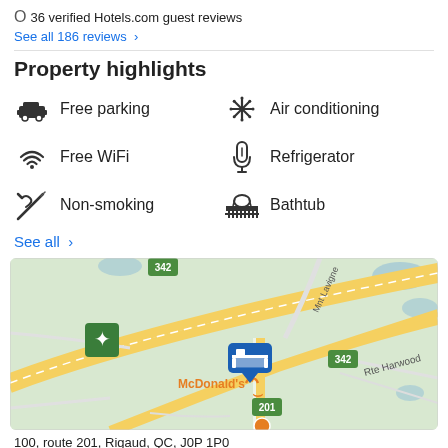186 verified Hotels.com guest reviews
See all 186 reviews >
Property highlights
Free parking
Air conditioning
Free WiFi
Refrigerator
Non-smoking
Bathtub
See all >
[Figure (map): Google Maps view showing hotel location at intersection near McDonald's, route 342, 201, and Rte Harwood in Rigaud, QC. Hotel marker visible with blue pin icon. Green route shields for 342 and 201. Text labels: Mnt Lavigne, Rte Harwood, McDonald's.]
100, route 201, Rigaud, QC, J0P 1P0